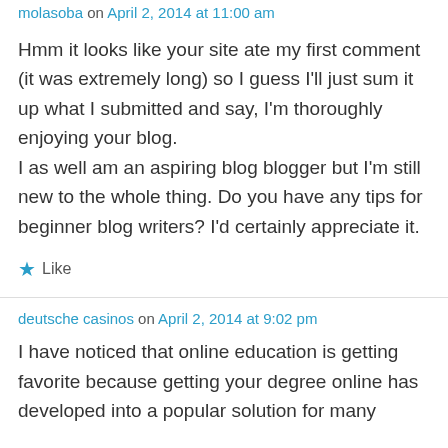molasoba on April 2, 2014 at 11:00 am
Hmm it looks like your site ate my first comment (it was extremely long) so I guess I'll just sum it up what I submitted and say, I'm thoroughly enjoying your blog.
I as well am an aspiring blog blogger but I'm still new to the whole thing. Do you have any tips for beginner blog writers? I'd certainly appreciate it.
★ Like
deutsche casinos on April 2, 2014 at 9:02 pm
I have noticed that online education is getting favorite because getting your degree online has developed into a popular solution for many